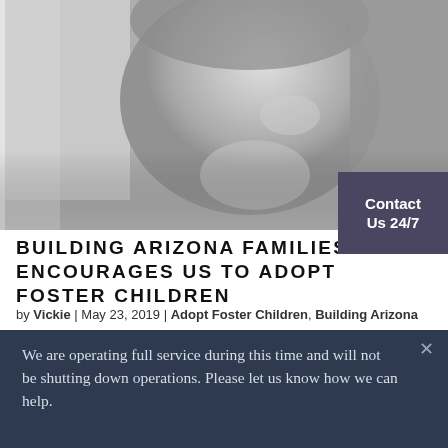[Figure (photo): Black and white close-up photo of a young child looking contemplatively, near a window]
Contact Us 24/7
BUILDING ARIZONA FAMILIES ENCOURAGES US TO ADOPT FOSTER CHILDREN
by Vickie | May 23, 2019 | Adopt Foster Children, Building Arizona Families, Forever Families, Foster Children,
We are operating full service during this time and will not be shutting down operations. Please let us know how we can help.